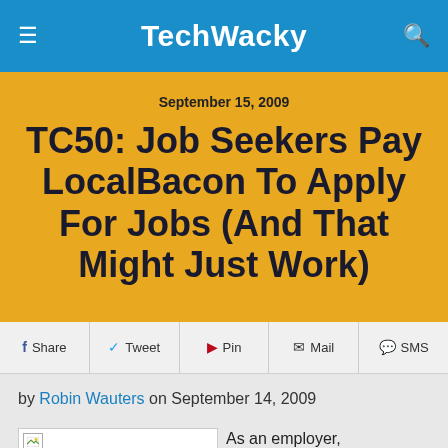TechWacky
September 15, 2009
TC50: Job Seekers Pay LocalBacon To Apply For Jobs (And That Might Just Work)
Share  Tweet  Pin  Mail  SMS
by Robin Wauters on September 14, 2009
As an employer,